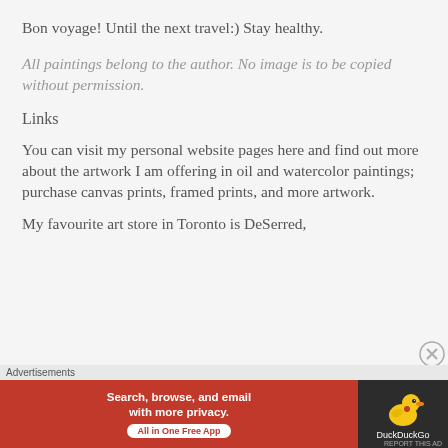Bon voyage! Until the next travel:) Stay healthy.
All paintings belong to the author. No image is to be copied without permission.
Links
You can visit my personal website pages here and find out more about the artwork I am offering in oil and watercolor paintings; purchase canvas prints, framed prints, and more artwork.
My favourite art store in Toronto is DeSerred,
[Figure (screenshot): DuckDuckGo advertisement banner: Search, browse, and email with more privacy. All in One Free App. DuckDuckGo logo on dark background.]